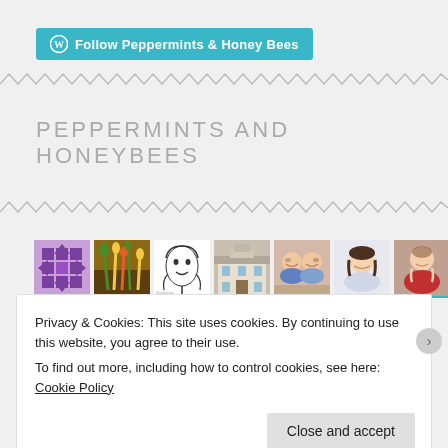[Figure (logo): WordPress Follow button: teal/cyan rounded button with WordPress logo icon and text 'Follow Peppermints & Honey Bees']
PEPPERMINTS AND HONEYBEES
[Figure (photo): Row of avatar/profile images: purple geometric pattern, colorful vegetables/plants, black-and-white face illustration, building facade, two smiling women, young woman, woman in red top]
Privacy & Cookies: This site uses cookies. By continuing to use this website, you agree to their use.
To find out more, including how to control cookies, see here: Cookie Policy
Close and accept